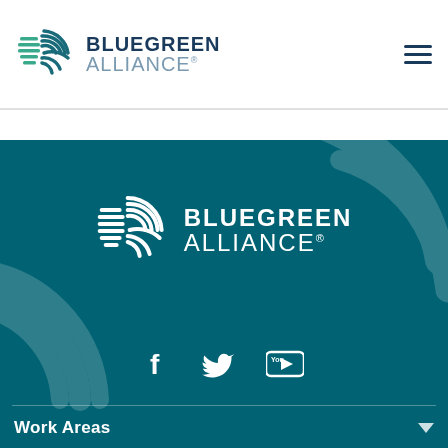BLUEGREEN ALLIANCE
[Figure (logo): Bluegreen Alliance logo with circular arc icon in teal/green and navy text reading BLUEGREEN ALLIANCE]
[Figure (logo): Bluegreen Alliance logo white version on teal background with circular arc icon]
[Figure (infographic): Social media icons: Facebook (f), Twitter (bird), YouTube (play button in rectangle)]
Work Areas
States